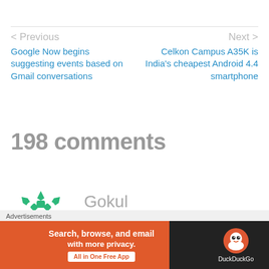< Previous
Google Now begins suggesting events based on Gmail conversations
Next >
Celkon Campus A35K is India's cheapest Android 4.4 smartphone
198 comments
Gokul
MAY 23, 2014 AT 12:07 PM
Advertisements
[Figure (infographic): DuckDuckGo advertisement banner: orange section with text 'Search, browse, and email with more privacy. All in One Free App' and dark section with DuckDuckGo logo]